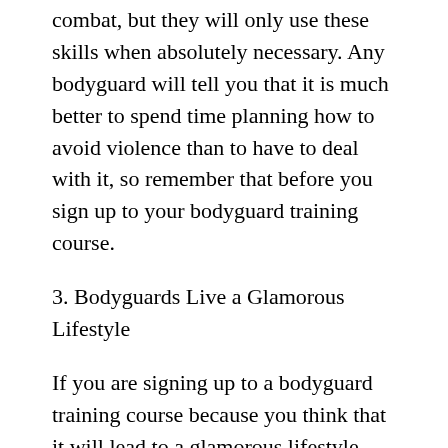combat, but they will only use these skills when absolutely necessary. Any bodyguard will tell you that it is much better to spend time planning how to avoid violence than to have to deal with it, so remember that before you sign up to your bodyguard training course.
3. Bodyguards Live a Glamorous Lifestyle
If you are signing up to a bodyguard training course because you think that it will lead to a glamorous lifestyle, think again. Yes, bodyguards do get to go to some amazing functions, important parties and even travel around the world when they look after wealthy celebrities and business people. But the movies have blown this out of all proportion. Bodyguards are always working. They are not there to have fun, and they are constantly planning for potential threats.